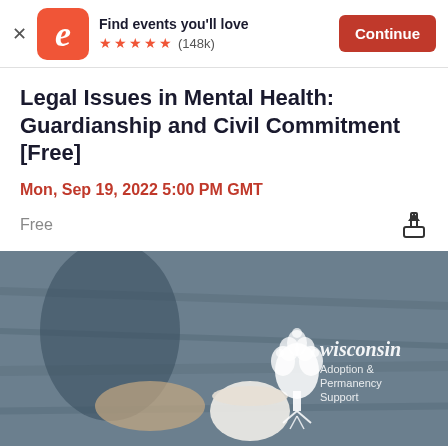[Figure (screenshot): Eventbrite app banner with logo, 'Find events you'll love', 5-star rating (148k), and Continue button]
Legal Issues in Mental Health: Guardianship and Civil Commitment [Free]
Mon, Sep 19, 2022 5:00 PM GMT
Free
[Figure (photo): Woman sitting at wooden table holding a coffee cup, with Wisconsin Adoption & Permanency Support logo overlay]